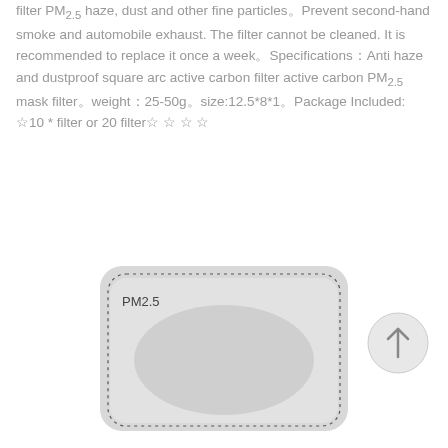filter PM2.5 haze, dust and other fine particles。Prevent second-hand smoke and automobile exhaust. The filter cannot be cleaned. It is recommended to replace it once a week。Specifications：Anti haze and dustproof square arc active carbon filter active carbon PM2.5 mask filter。weight：25-50g。size:12.5*8*1。Package Included: ☆10 * filter or 20 filter☆ ☆ ☆ ☆
[Figure (photo): A PM2.5 mask filter — a curved rectangular grey filter pad with a dotted border stitching and a 'PM2.5' label printed in the upper left, shown against a white background.]